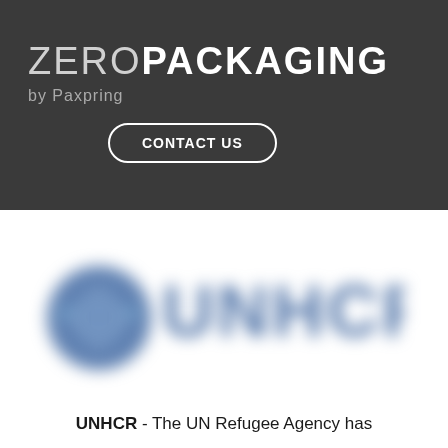ZERO PACKAGING by Paxpring — CONTACT US
[Figure (logo): UNHCR — The UN Refugee Agency logo, blurred, showing blue emblem and UNHCR wordmark in blue]
UNHCR - The UN Refugee Agency has